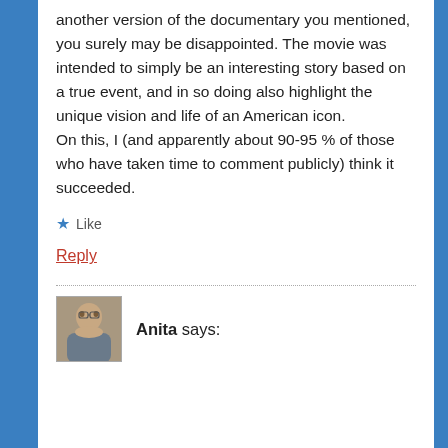another version of the documentary you mentioned, you surely may be disappointed. The movie was intended to simply be an interesting story based on a true event, and in so doing also highlight the unique vision and life of an American icon. On this, I (and apparently about 90-95 % of those who have taken time to comment publicly) think it succeeded.
★ Like
Reply
Anita says: